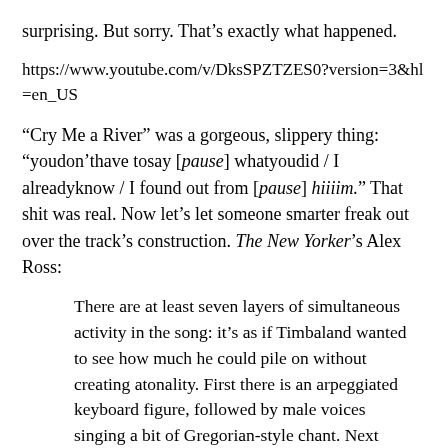surprising. But sorry. That’s exactly what happened.
https://www.youtube.com/v/DksSPZTZES0?version=3&hl=en_US
“Cry Me a River” was a gorgeous, slippery thing: “youdon’thave tosay [pause] whatyoudid / I alreadyknow / I found out from [pause] hiiiim.” That shit was real. Now let’s let someone smarter freak out over the track’s construction. The New Yorker’s Alex Ross:
There are at least seven layers of simultaneous activity in the song: it’s as if Timbaland wanted to see how much he could pile on without creating atonality. First there is an arpeggiated keyboard figure, followed by male voices singing a bit of Gregorian-style chant. Next comes a steady, sombre pattern that sounds a little like the minor-key vamp in Ellington’s “East St. Louis Toodle-Oo.” Below it are four bass notes, recurring in chacona style. Now the angelic Timberlake enters, together with a more nasty-minded